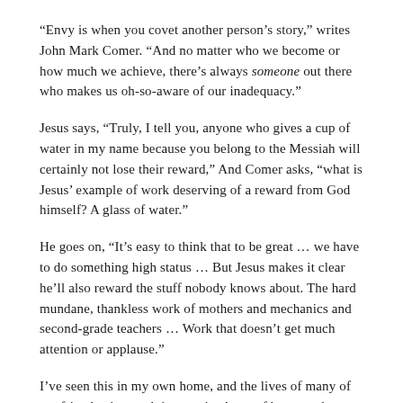“Envy is when you covet another person’s story,” writes John Mark Comer. “And no matter who we become or how much we achieve, there’s always someone out there who makes us oh-so-aware of our inadequacy.”
Jesus says, “Truly, I tell you, anyone who gives a cup of water in my name because you belong to the Messiah will certainly not lose their reward,” And Comer asks, “what is Jesus’ example of work deserving of a reward from God himself? A glass of water.”
He goes on, “It’s easy to think that to be great … we have to do something high status … But Jesus makes it clear he’ll also reward the stuff nobody knows about. The hard mundane, thankless work of mothers and mechanics and second-grade teachers … Work that doesn’t get much attention or applause.”
I’ve seen this in my own home, and the lives of many of my friends, time and time again. A pot of homemade chicken noodle soup saved our family’s life last month when it was delivered by a loving friend to